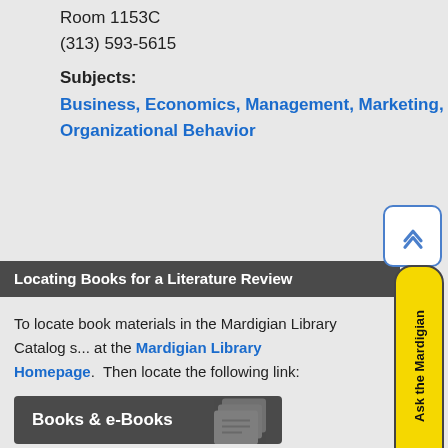Room 1153C
(313) 593-5615
Subjects:
Business, Economics, Management, Marketing, Organizational Behavior
Locating Books for a Literature Review
To locate book materials in the Mardigian Library Catalog s... at the Mardigian Library Homepage. Then locate the following link:
[Figure (screenshot): Dark button labeled 'Books & e-Books' with a stacked books icon on the right]
Conduct your desired searches.